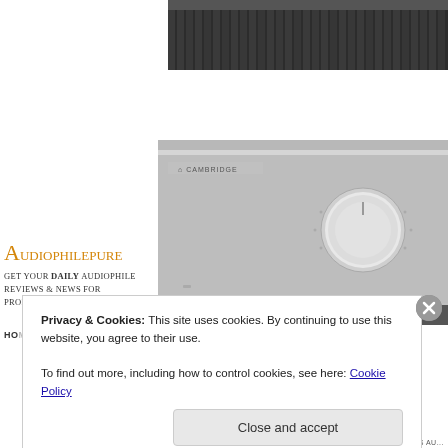[Figure (photo): Close-up of dark heat sink fins of an audio amplifier, partially visible at top right]
[Figure (photo): Cambridge Audio integrated amplifier, silver/grey finish with large volume knob on right side, CAMBRIDGE branding visible at top left of unit]
Audiophilepure
Get your DAILY audiophile reviews & news for products, tracks, shows.
Ho
Privacy & Cookies: This site uses cookies. By continuing to use this website, you agree to their use.
To find out more, including how to control cookies, see here: Cookie Policy
Close and accept
COPYRIGHT THIS AU...